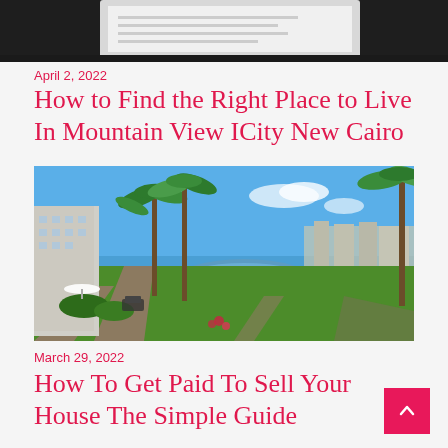[Figure (photo): Partial top image showing what appears to be a clipboard or document on a dark surface]
April 2, 2022
How to Find the Right Place to Live In Mountain View ICity New Cairo
[Figure (photo): Aerial view of a green residential community with palm trees, a lake, manicured gardens, and residential buildings under a blue sky — Mountain View ICity New Cairo]
March 29, 2022
How To Get Paid To Sell Your House The Simple Guide